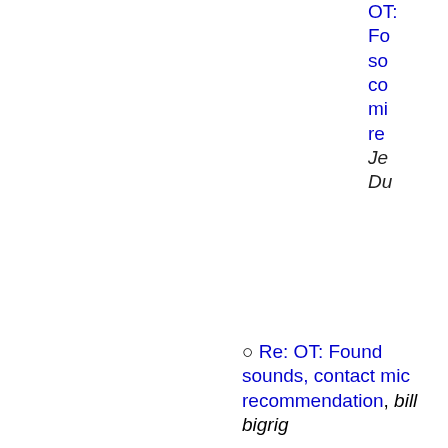OT: Found sounds, contact mic recommendation, Jeff Dunbar (partial, top)
Re: OT: Found sounds, contact mic recommendation, bill bigrig
Re: Found sounds, contact mic recommendation, Rick Walker
Re: Music Tech-Recording Forum, rs
Re: Music Tech-Recording Forum, Per Boysen
<Possible follow-ups>
Re: Music Tech-Recording Forum, Nemoguitt